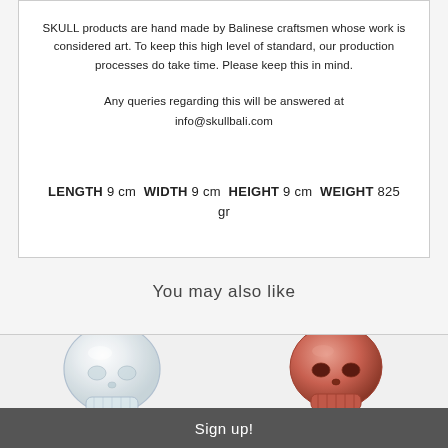SKULL products are hand made by Balinese craftsmen whose work is considered art. To keep this high level of standard, our production processes do take time. Please keep this in mind.
Any queries regarding this will be answered at info@skullbali.com
LENGTH 9 cm WIDTH 9 cm HEIGHT 9 cm WEIGHT 825 gr
You may also like
[Figure (photo): Glass/crystal skull product photo]
[Figure (photo): Coral/terracotta colored skull product photo]
Sign up!